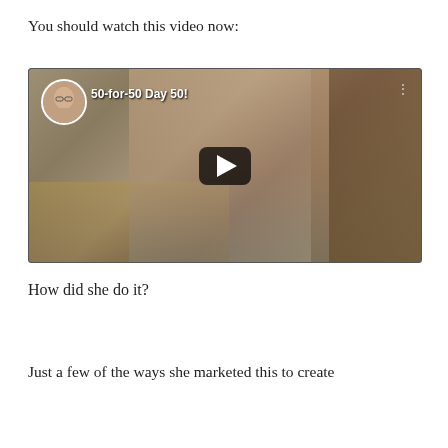You should watch this video now:
[Figure (screenshot): YouTube video thumbnail showing a woman with glasses in front of a bookshelf, with a play button overlay. Profile circle in top-left corner, title '50-for-50 Day 50!' displayed.]
How did she do it?
Just a few of the ways she marketed this to create